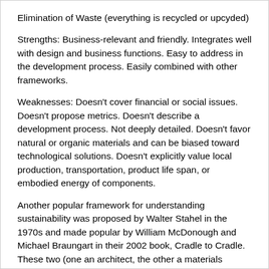Elimination of Waste (everything is recycled or upcyded)
Strengths: Business-relevant and friendly. Integrates well with design and business functions. Easy to address in the development process. Easily combined with other frameworks.
Weaknesses: Doesn't cover financial or social issues. Doesn't propose metrics. Doesn't describe a development process. Not deeply detailed. Doesn't favor natural or organic materials and can be biased toward technological solutions. Doesn't explicitly value local production, transportation, product life span, or embodied energy of components.
Another popular framework for understanding sustainability was proposed by Walter Stahel in the 1970s and made popular by William McDonough and Michael Braungart in their 2002 book, Cradle to Cradle. These two (one an architect, the other a materials engineer) have built solutions that have surprised and amazed their clients, industries, and the public.